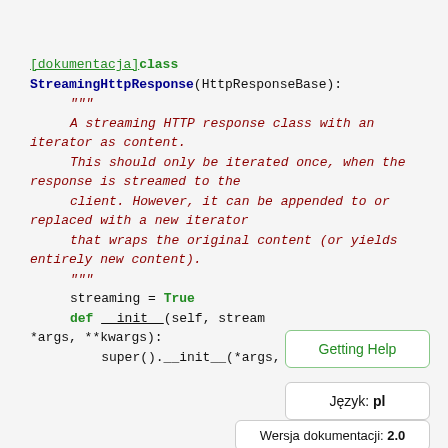[dokumentacja]class StreamingHttpResponse(HttpResponseBase):
"""
    A streaming HTTP response class with an iterator as content.

    This should only be iterated once, when the response is streamed to the
    client. However, it can be appended to or replaced with a new iterator
    that wraps the original content (or yields entirely new content).
    """
streaming = True
def __init__(self, stream *args, **kwargs):
super().__init__(*args, **kwargs)
Getting Help
Język: pl
Wersja dokumentacji: 2.0